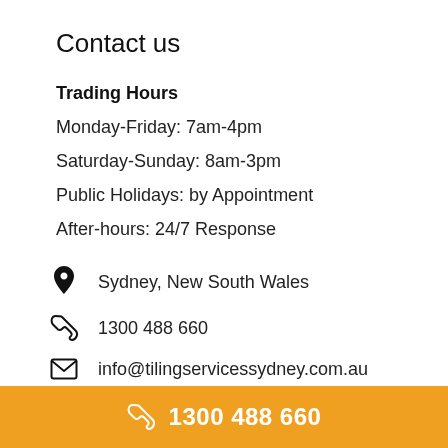Contact us
Trading Hours
Monday-Friday: 7am-4pm
Saturday-Sunday: 8am-3pm
Public Holidays: by Appointment
After-hours: 24/7 Response
Sydney, New South Wales
1300 488 660
info@tilingservicessydney.com.au
1300 488 660